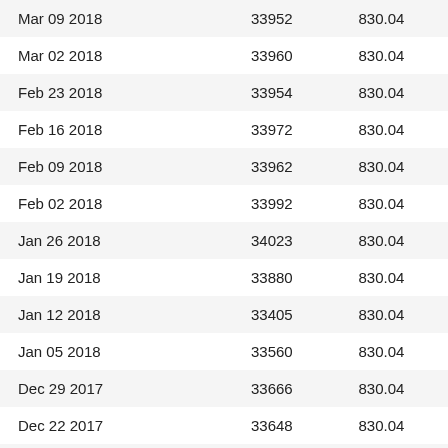| Mar 09 2018 | 33952 | 830.04 |
| Mar 02 2018 | 33960 | 830.04 |
| Feb 23 2018 | 33954 | 830.04 |
| Feb 16 2018 | 33972 | 830.04 |
| Feb 09 2018 | 33962 | 830.04 |
| Feb 02 2018 | 33992 | 830.04 |
| Jan 26 2018 | 34023 | 830.04 |
| Jan 19 2018 | 33880 | 830.04 |
| Jan 12 2018 | 33405 | 830.04 |
| Jan 05 2018 | 33560 | 830.04 |
| Dec 29 2017 | 33666 | 830.04 |
| Dec 22 2017 | 33648 | 830.04 |
| Dec 15 2017 | 33686 | 830.04 |
| Dec 08 2017 | 34162 | 830.04 |
| Dec 01 2017 | 34560 | 830.04 |
| Nov 24 2017 | 34581 | 830.04 |
| Nov 17 2017 | 35047 | 830.04 |